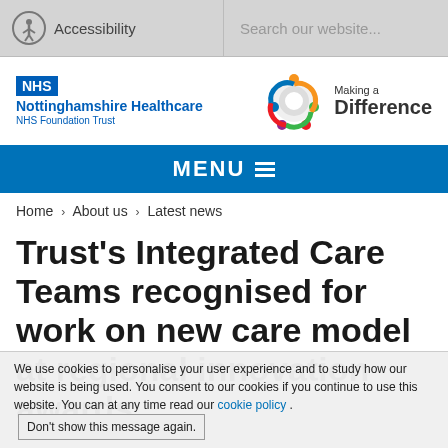Accessibility   Search our website...
[Figure (logo): NHS Nottinghamshire Healthcare NHS Foundation Trust logo and Making a Difference colourful logo]
MENU
Home > About us > Latest news
Trust's Integrated Care Teams recognised for work on new care model at regional innovation awards
We use cookies to personalise your user experience and to study how our website is being used. You consent to our cookies if you continue to use this website. You can at any time read our cookie policy . Don't show this message again.